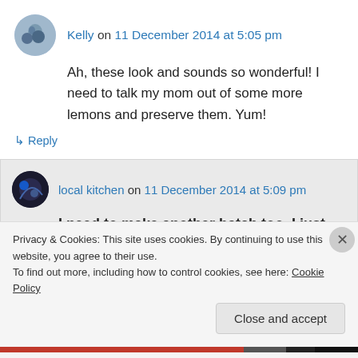Kelly on 11 December 2014 at 5:05 pm
Ah, these look and sounds so wonderful! I need to talk my mom out of some more lemons and preserve them. Yum!
↳ Reply
local kitchen on 11 December 2014 at 5:09 pm
I need to make another batch too. I just
Privacy & Cookies: This site uses cookies. By continuing to use this website, you agree to their use.
To find out more, including how to control cookies, see here: Cookie Policy
Close and accept